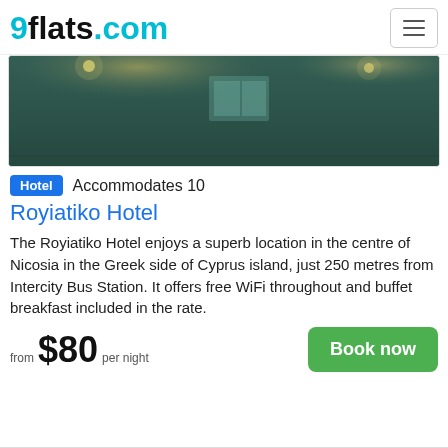9flats.com
[Figure (photo): Interior photo of Royiatiko Hotel showing a dimly lit room with teal/green tones, ceiling lights reflecting off a surface]
Hotel  Accommodates 10
Royiatiko Hotel
The Royiatiko Hotel enjoys a superb location in the centre of Nicosia in the Greek side of Cyprus island, just 250 metres from Intercity Bus Station. It offers free WiFi throughout and buffet breakfast included in the rate.
from $80 per night
Book now